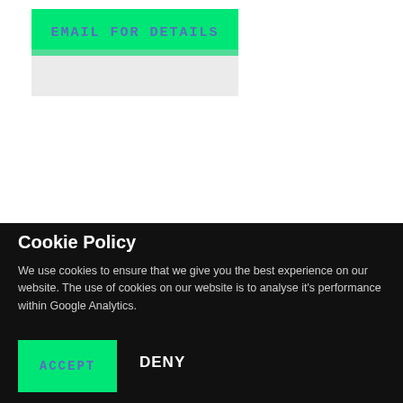EMAIL FOR DETAILS
Cookie Policy
We use cookies to ensure that we give you the best experience on our website. The use of cookies on our website is to analyse it's performance within Google Analytics.
ACCEPT
DENY